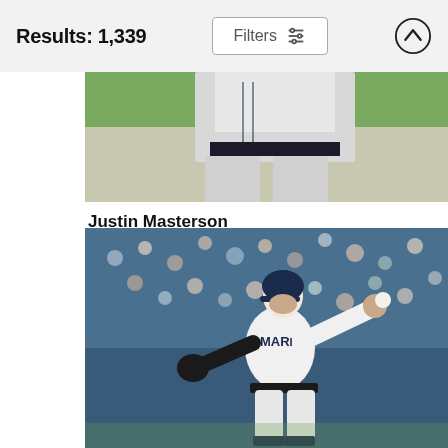Results: 1,339
[Figure (photo): Partial photo of a baseball player in gray uniform, cropped showing torso and legs, with green grass field background]
Justin Masterson
Jonathan Daniel
$9.62
[Figure (photo): Baseball pitcher in white Seattle Mariners uniform mid-windup on the pitcher's mound, with stadium crowd in background]